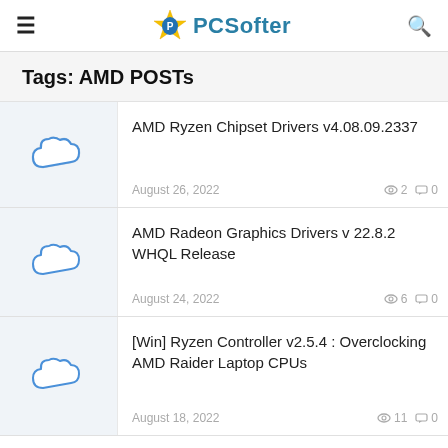PCSofter
Tags: AMD POSTs
AMD Ryzen Chipset Drivers v4.08.09.2337
August 26, 2022 · views: 2 · comments: 0
AMD Radeon Graphics Drivers v 22.8.2 WHQL Release
August 24, 2022 · views: 6 · comments: 0
[Win] Ryzen Controller v2.5.4 : Overclocking AMD Raider Laptop CPUs
August 18, 2022 · views: 11 · comments: 0